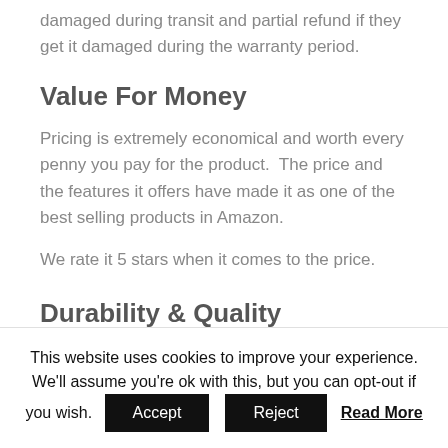damaged during transit and partial refund if they get it damaged during the warranty period.
Value For Money
Pricing is extremely economical and worth every penny you pay for the product.  The price and the features it offers have made it as one of the best selling products in Amazon.
We rate it 5 stars when it comes to the price.
Durability & Quality
This website uses cookies to improve your experience. We'll assume you're ok with this, but you can opt-out if you wish.
Accept
Reject
Read More